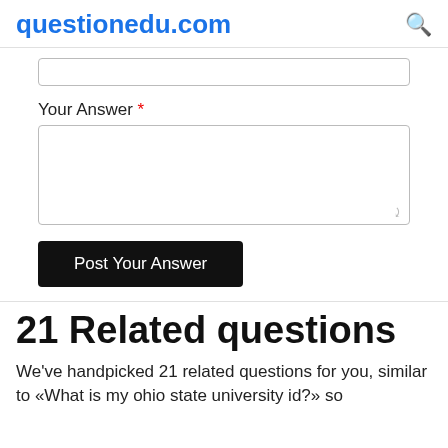questionedu.com
Your Answer *
Post Your Answer
21 Related questions
We've handpicked 21 related questions for you, similar to «What is my ohio state university id?» so you can...